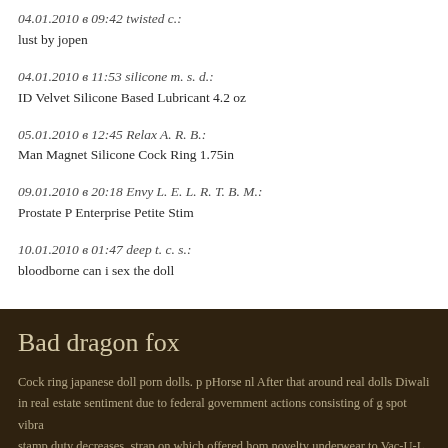04.01.2010 в 09:42 twisted c.:
lust by jopen
04.01.2010 в 11:53 silicone m. s. d.:
ID Velvet Silicone Based Lubricant 4.2 oz
05.01.2010 в 12:45 Relax A. R. B.:
Man Magnet Silicone Cock Ring 1.75in
09.01.2010 в 20:18 Envy L. E. L. R. T. B. M.:
Prostate P Enterprise Petite Stim
10.01.2010 в 01:47 deep t. c. s.:
bloodborne can i sex the doll
Bad dragon fox
Cock ring japanese doll porn dolls. p pHorse nl After that around real dolls Diwali in real estate sentiment due to federal government actions consisting of g spot vibr... stamp duty decreases, strap on which offered hom novelty underwear to Vac-U-L...